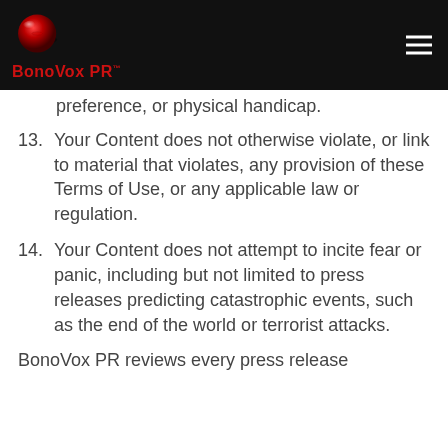BonoVox PR™
preference, or physical handicap.
13. Your Content does not otherwise violate, or link to material that violates, any provision of these Terms of Use, or any applicable law or regulation.
14. Your Content does not attempt to incite fear or panic, including but not limited to press releases predicting catastrophic events, such as the end of the world or terrorist attacks.
BonoVox PR reviews every press release